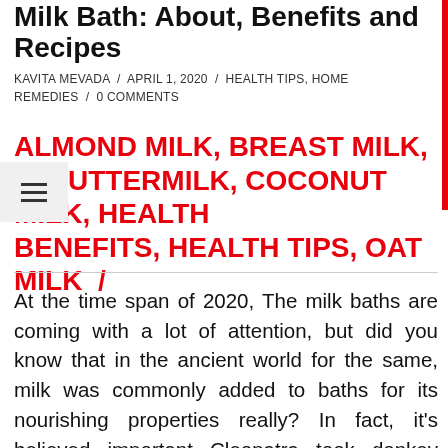Milk Bath: About, Benefits and Recipes
KAVITA MEVADA / APRIL 1, 2020 / HEALTH TIPS, HOME REMEDIES / 0 COMMENTS
ALMOND MILK, BREAST MILK, BUTTERMILK, COCONUT MILK, HEALTH BENEFITS, HEALTH TIPS, OAT MILK /
At the time span of 2020, The milk baths are coming with a lot of attention, but did you know that in the ancient world for the same, milk was commonly added to baths for its nourishing properties really? In fact, it’s believed important Cleopatra took donkey milk baths frequently to preserve her beauty